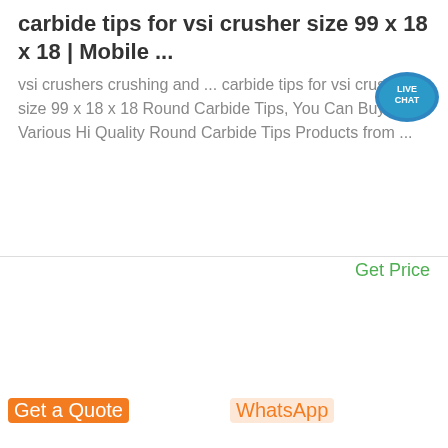carbide tips for vsi crusher size 99 x 18 x 18 | Mobile ...
vsi crushers crushing and ... carbide tips for vsi crusher size 99 x 18 x 18 Round Carbide Tips, You Can Buy Various High Quality Round Carbide Tips Products from ...
Get Price
[Figure (photo): Screenshot or image placeholder showing a webpage with a small icon at the bottom center]
Get a Quote
WhatsApp